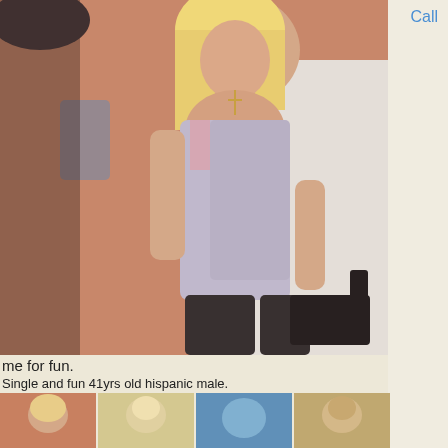[Figure (photo): Screenshot of a personal ad webpage showing a woman in lingerie kneeling on a bed, with blonde hair, wearing a silver/pink dress and dark stockings with heels. Orange/peach wall background. Right side shows a beige sidebar with 'Call' link in blue.]
Call
me for fun.
Single and fun 41yrs old hispanic male.
[Figure (photo): Row of four small thumbnail photos at the bottom of the page]